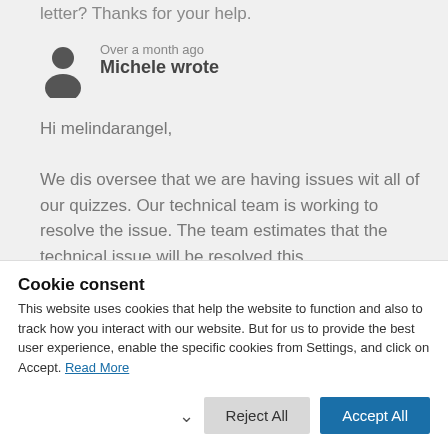letter? Thanks for your help.
Over a month ago
Michele wrote
Hi melindarangel,

We dis oversee that we are having issues wit all of our quizzes. Our technical team is working to resolve the issue. The team estimates that the technical issue will be resolved this
Cookie consent
This website uses cookies that help the website to function and also to track how you interact with our website. But for us to provide the best user experience, enable the specific cookies from Settings, and click on Accept. Read More